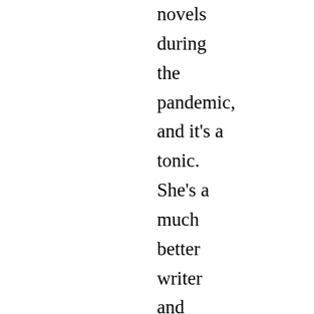novels during the pandemic, and it's a tonic. She's a much better writer and observer of human nature that she is often given credit for,